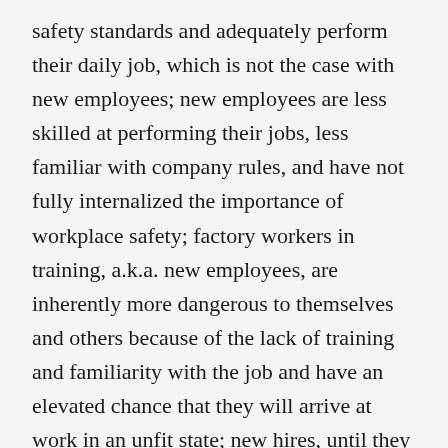safety standards and adequately perform their daily job, which is not the case with new employees; new employees are less skilled at performing their jobs, less familiar with company rules, and have not fully internalized the importance of workplace safety; factory workers in training, a.k.a. new employees, are inherently more dangerous to themselves and others because of the lack of training and familiarity with the job and have an elevated chance that they will arrive at work in an unfit state; new hires, until they fully can appreciate the risk in the workplace, are more likely to engage in risky behavior than regular employees, and there is no room for error when the dangers are as numerous as they are in this plant; there is no way for the employer to tell who may be engaging in behavior demanding further investigation when everybody has